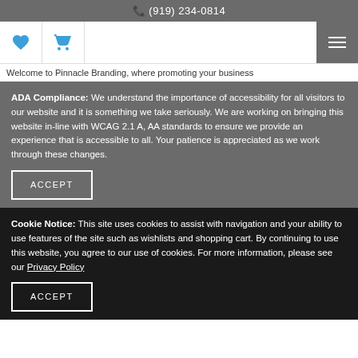☎ (919) 234-0814
Welcome to Pinnacle Branding, where promoting your business
ADA Compliance: We understand the importance of accessibility for all visitors to our website and it is something we take seriously. We are working on bringing this website in-line with WCAG 2.1 A, AA standards to ensure we provide an experience that is accessible to all. Your patience is appreciated as we work through these changes.
ACCEPT
Cookie Notice: This site uses cookies to assist with navigation and your ability to use features of the site such as wishlists and shopping cart. By continuing to use this website, you agree to our use of cookies. For more information, please see our Privacy Policy
ACCEPT